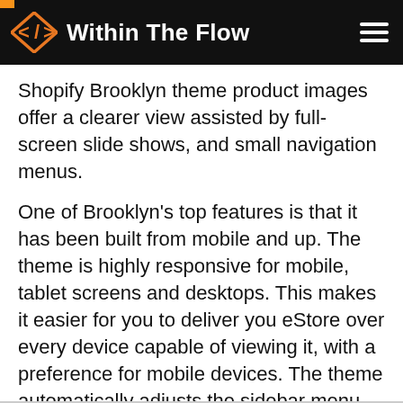Within The Flow
Shopify Brooklyn theme product images offer a clearer view assisted by full-screen slide shows, and small navigation menus.
One of Brooklyn’s top features is that it has been built from mobile and up. The theme is highly responsive for mobile, tablet screens and desktops. This makes it easier for you to deliver you eStore over every device capable of viewing it, with a preference for mobile devices. The theme automatically adjusts the sidebar menu, images, cart buttons and CTAs. I really loved how the demo store scaled to my phone screen without having to compromise image quality